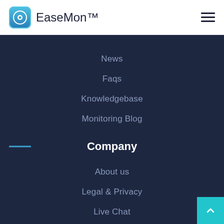EaseMon™
News
Faqs
Knowledgebase
Monitoring Blog
Company
About us
Legal & Privacy
Live Chat
Support